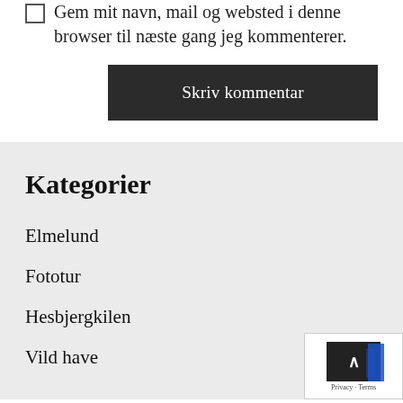Gem mit navn, mail og websted i denne browser til næste gang jeg kommenterer.
Skriv kommentar
Kategorier
Elmelund
Fototur
Hesbjergkilen
Vild have